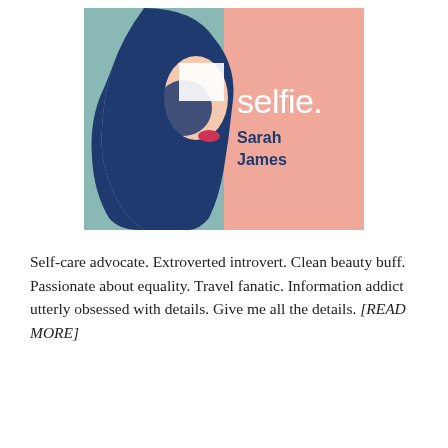[Figure (illustration): Book cover for 'selfie.' by Sarah James. Split design: left half shows a teal/sage green background with a stylized blue silhouette of a woman's profile (dark navy hair, peach/pink face detail), and a dark blue circle overlapping. Right half is a salmon/rose pink background with the word 'selfie.' in large white lowercase letters and 'Sarah James' in dark navy bold text below.]
Self-care advocate. Extroverted introvert. Clean beauty buff. Passionate about equality. Travel fanatic. Information addict utterly obsessed with details. Give me all the details. [READ MORE]